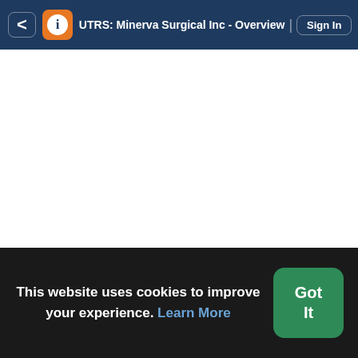UTRS: Minerva Surgical Inc - Overview | Sign In
This website uses cookies to improve your experience. Learn More
Got It